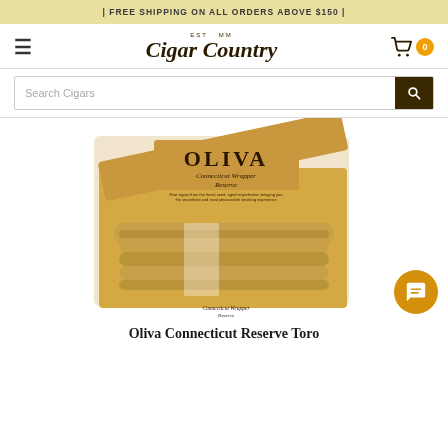| FREE SHIPPING ON ALL ORDERS ABOVE $150 |
[Figure (logo): Cigar Country logo with EST MM tagline, hamburger menu icon, and shopping cart with badge showing 0]
Search Cigars
[Figure (photo): Open wooden cigar box branded OLIVA Connecticut Wrapper Reserve containing multiple cigars]
Oliva Connecticut Reserve Toro